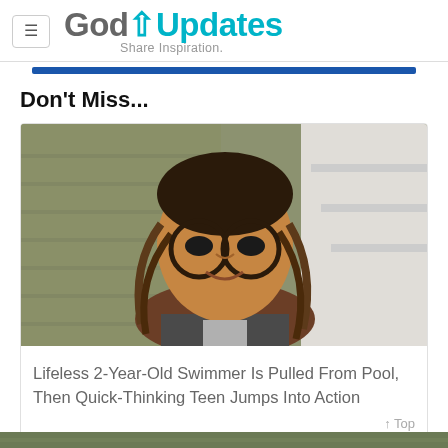GodUpdates — Share Inspiration.
Don't Miss...
[Figure (photo): A teenage girl with braided hair and round glasses, smiling, standing in front of a house exterior with siding and white trim.]
Lifeless 2-Year-Old Swimmer Is Pulled From Pool, Then Quick-Thinking Teen Jumps Into Action